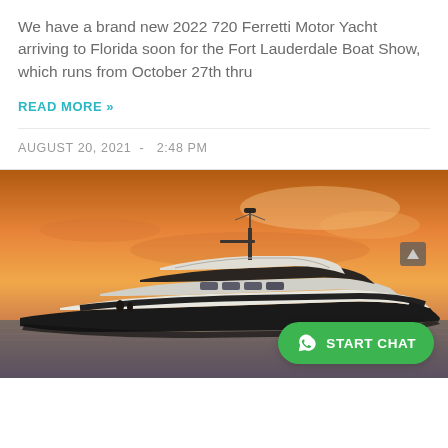We have a brand new 2022 720 Ferretti Motor Yacht arriving to Florida soon for the Fort Lauderdale Boat Show, which runs from October 27th thru
READ MORE »
AUGUST 20, 2021  -  2:48 PM
[Figure (photo): A luxury motor yacht photographed against a vivid orange and purple sunset sky, floating on calm water. The yacht is white and dark-hulled, sleek and modern in design.]